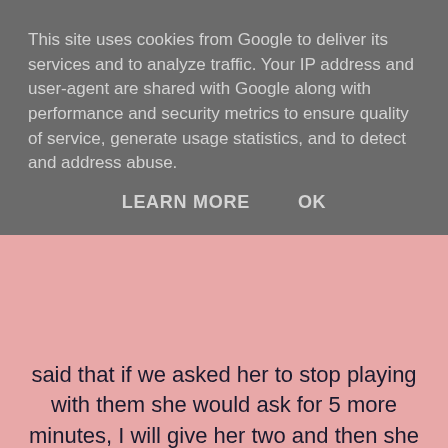This site uses cookies from Google to deliver its services and to analyze traffic. Your IP address and user-agent are shared with Google along with performance and security metrics to ensure quality of service, generate usage statistics, and to detect and address abuse.
LEARN MORE    OK
said that if we asked her to stop playing with them she would ask for 5 more minutes, I will give her two and then she would get angry and start stamping about and maybe throw her dolls on the table and shout.....
It led her on to say does playing with the dolls cause problems?
No it doesn't.....Ellie just doesn't like to be told what to do. We would probably have the same reaction if she was colouring in, painting, playing on the computer or watching TV. It's always 5 minutes